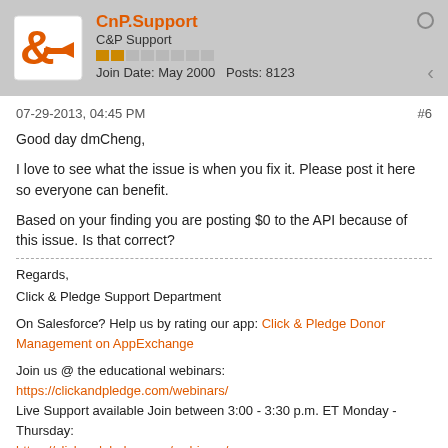CnP.Support | C&P Support | Join Date: May 2000 | Posts: 8123
07-29-2013, 04:45 PM  #6
Good day dmCheng,

I love to see what the issue is when you fix it. Please post it here so everyone can benefit.

Based on your finding you are posting $0 to the API because of this issue. Is that correct?
Regards,
Click & Pledge Support Department

On Salesforce? Help us by rating our app: Click & Pledge Donor Management on AppExchange

Join us @ the educational webinars: https://clickandpledge.com/webinars/
Live Support available Join between 3:00 - 3:30 p.m. ET Monday - Thursday:
https://clickandpledge.com/webinars/
Are you on Salesforce? Join us at the Power of Us Hub:
https://powerofus.force.com/0F980000000CjpC